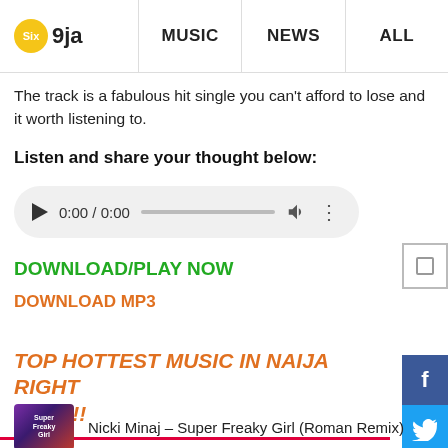Six 9ja | MUSIC | NEWS | ALL
The track is a fabulous hit single you can't afford to lose and it worth listening to.
Listen and share your thought below:
[Figure (other): Audio player widget showing 0:00 / 0:00 with play button, progress bar, volume and menu icons]
DOWNLOAD/PLAY NOW
DOWNLOAD MP3
TOP HOTTEST MUSIC IN NAIJA RIGHT NOW!!!
Nicki Minaj – Super Freaky Girl (Roman Remix)